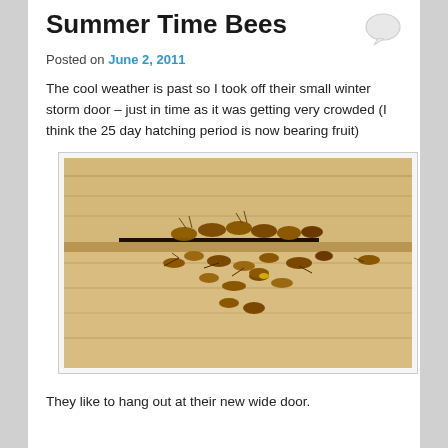Summer Time Bees
Posted on June 2, 2011
The cool weather is past so I took off their small winter storm door – just in time as it was getting very crowded (I think the 25 day hatching period is now bearing fruit)
[Figure (photo): Close-up photograph of honeybees clustered around and emerging from a small rectangular entrance slot in a wooden beehive box, with several bees visible on the landing board in front.]
They like to hang out at their new wide door.